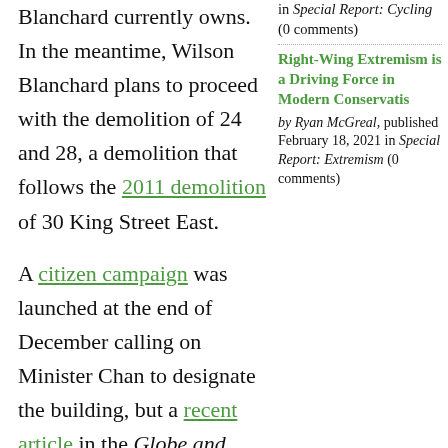Blanchard currently owns. In the meantime, Wilson Blanchard plans to proceed with the demolition of 24 and 28, a demolition that follows the 2011 demolition of 30 King Street East.
A citizen campaign was launched at the end of December calling on Minister Chan to designate the building, but a recent article in the Globe and Mail reports that the minister considers this a local matter.
ACO Appeal
In a news release issued this morning, the ACO argued, "Protecting built heritage is no longer a strictly local matter: the Act
in Special Report: Cycling (0 comments)
Right-Wing Extremism is a Driving Force in Modern Conservatism
by Ryan McGreal, published February 18, 2021 in Special Report: Extremism (0 comments)